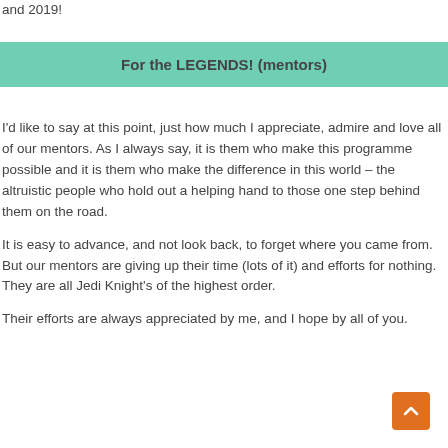and 2019!
For the LEGENDS! (mentors)
I'd like to say at this point, just how much I appreciate, admire and love all of our mentors. As I always say, it is them who make this programme possible and it is them who make the difference in this world – the altruistic people who hold out a helping hand to those one step behind them on the road.
It is easy to advance, and not look back, to forget where you came from. But our mentors are giving up their time (lots of it) and efforts for nothing. They are all Jedi Knight's of the highest order.
Their efforts are always appreciated by me, and I hope by all of you.